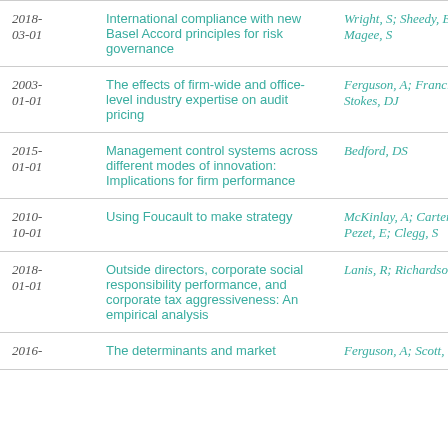| Date | Title | Authors |
| --- | --- | --- |
| 2018-03-01 | International compliance with new Basel Accord principles for risk governance | Wright, S; Sheedy, E; Magee, S |
| 2003-01-01 | The effects of firm-wide and office-level industry expertise on audit pricing | Ferguson, A; Francis, JR; Stokes, DJ |
| 2015-01-01 | Management control systems across different modes of innovation: Implications for firm performance | Bedford, DS |
| 2010-10-01 | Using Foucault to make strategy | McKinlay, A; Carter, C; Pezet, E; Clegg, S |
| 2018-01-01 | Outside directors, corporate social responsibility performance, and corporate tax aggressiveness: An empirical analysis | Lanis, R; Richardson, G |
| 2016- | The determinants and market | Ferguson, A; Scott, T |